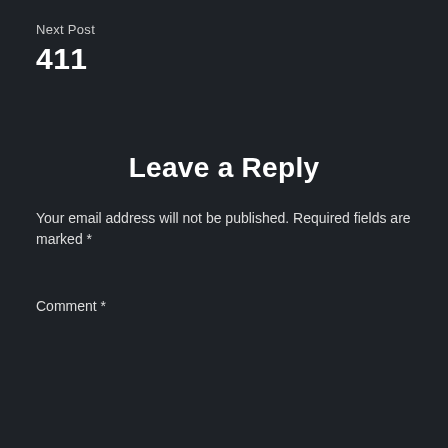Next Post
411
Leave a Reply
Your email address will not be published. Required fields are marked *
Comment *